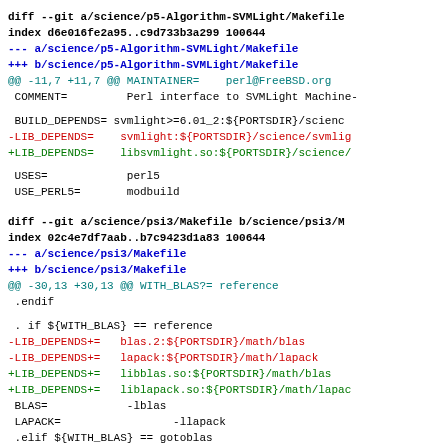diff --git a/science/p5-Algorithm-SVMLight/Makefile
index d6e016fe2a95..c9d733b3a299 100644
--- a/science/p5-Algorithm-SVMLight/Makefile
+++ b/science/p5-Algorithm-SVMLight/Makefile
@@ -11,7 +11,7 @@ MAINTAINER=    perl@FreeBSD.org
COMMENT=        Perl interface to SVMLight Machine-
BUILD_DEPENDS= svmlight>=6.01_2:${PORTSDIR}/scienc
-LIB_DEPENDS=   svmlight:${PORTSDIR}/science/svmlig
+LIB_DEPENDS=   libsvmlight.so:${PORTSDIR}/science/
USES=           perl5
USE_PERL5=      modbuild
diff --git a/science/psi3/Makefile b/science/psi3/M
index 02c4e7df7aab..b7c9423d1a83 100644
--- a/science/psi3/Makefile
+++ b/science/psi3/Makefile
@@ -30,13 +30,13 @@ WITH_BLAS?= reference
.endif
. if ${WITH_BLAS} == reference
-LIB_DEPENDS+=  blas.2:${PORTSDIR}/math/blas
-LIB_DEPENDS+=  lapack:${PORTSDIR}/math/lapack
+LIB_DEPENDS+=  libblas.so:${PORTSDIR}/math/blas
+LIB_DEPENDS+=  liblapack.so:${PORTSDIR}/math/lapac
BLAS=           -lblas
LAPACK=                 -llapack
.elif ${WITH_BLAS} == gotoblas